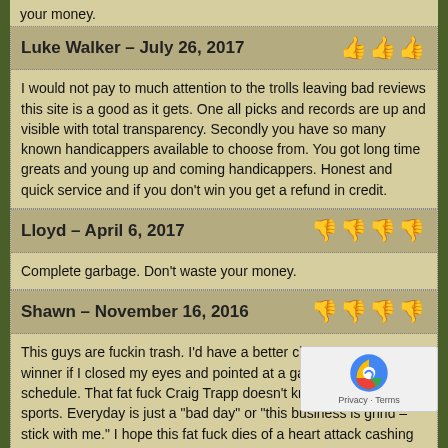your money.
Luke Walker – July 26, 2017
I would not pay to much attention to the trolls leaving bad reviews this site is a good as it gets. One all picks and records are up and visible with total transparency. Secondly you have so many known handicappers available to choose from. You got long time greats and young up and coming handicappers. Honest and quick service and if you don't win you get a refund in credit.
Lloyd – April 6, 2017
Complete garbage. Don't waste your money.
Shawn – November 16, 2016
This guys are fuckin trash. I'd have a better chance picking a winner if I closed my eyes and pointed at a game on the schedule. That fat fuck Craig Trapp doesn't know shit about sports. Everyday is just a "bad day" or "this business is grind – stick with me." I hope this fat fuck dies of a heart attack cashing his next ticket at Caesars
Fast eddie – October 21, 2016